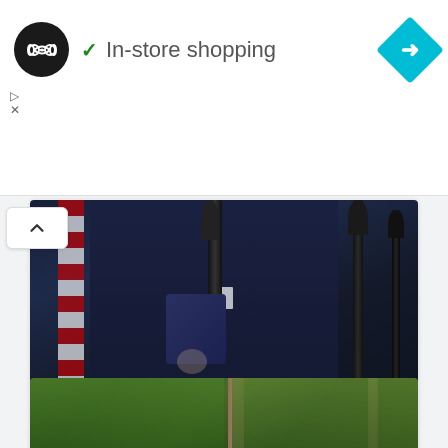[Figure (infographic): Ad banner with circular logo (dark with infinity-like symbol), green checkmark and text 'In-store shopping', blue diamond navigation icon on right]
[Figure (photo): Close-up photo of a person in dark navy suit at a podium with microphones, purple cuff visible, American flag in background]
ECONOMY
Biden to convene September summit at White House in response to wave of racism- and hate-driven violence
Businesshala - August 21, 2022
[Figure (photo): Partial view of green trees/forest scene, partially visible at bottom of page]